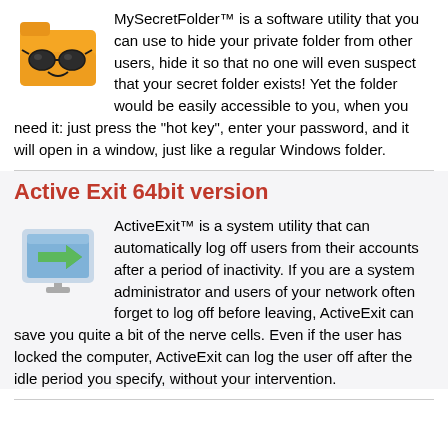[Figure (illustration): MySecretFolder app icon: orange folder with sunglasses]
MySecretFolder™ is a software utility that you can use to hide your private folder from other users, hide it so that no one will even suspect that your secret folder exists! Yet the folder would be easily accessible to you, when you need it: just press the "hot key", enter your password, and it will open in a window, just like a regular Windows folder.
Active Exit 64bit version
[Figure (illustration): ActiveExit app icon: computer monitor with green arrow pointing right]
ActiveExit™ is a system utility that can automatically log off users from their accounts after a period of inactivity. If you are a system administrator and users of your network often forget to log off before leaving, ActiveExit can save you quite a bit of the nerve cells. Even if the user has locked the computer, ActiveExit can log the user off after the idle period you specify, without your intervention.